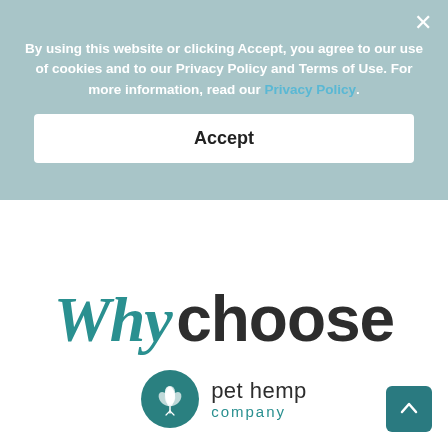By using this website or clicking Accept, you agree to our use of cookies and to our Privacy Policy and Terms of Use. For more information, read our Privacy Policy.
Accept
Why choose
[Figure (logo): Pet Hemp Company logo: teal circle with a hemp leaf icon, followed by text 'pet hemp company']